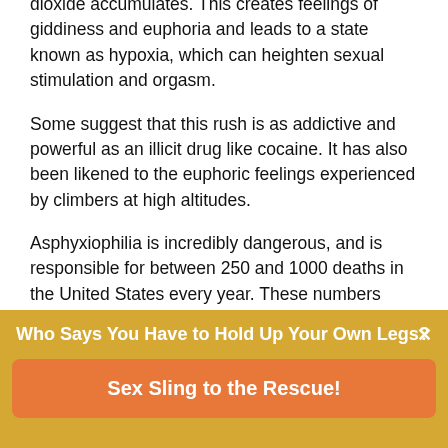dioxide accumulates. This creates feelings of giddiness and euphoria and leads to a state known as hypoxia, which can heighten sexual stimulation and orgasm.
Some suggest that this rush is as addictive and powerful as an illicit drug like cocaine. It has also been likened to the euphoric feelings experienced by climbers at high altitudes.
Asphyxiophilia is incredibly dangerous, and is responsible for between 250 and 1000 deaths in the United States every year. These numbers may be conservative as these deaths can be mistaken for suicide or even murder. Deaths can occur when the loss of consciousness which comes from partial asphyxia leads to a loss of control over the
Who Says You Have to Hold Up Your Own Legs?
Sex Sling to the Rescue!